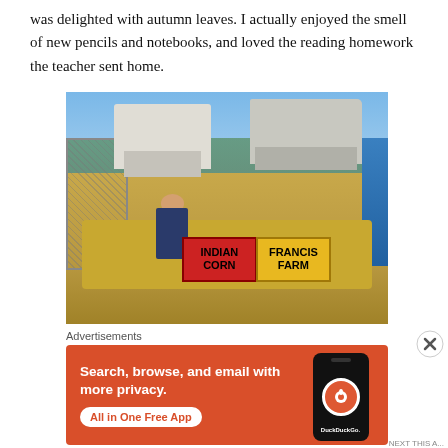was delighted with autumn leaves. I actually enjoyed the smell of new pencils and notebooks, and loved the reading homework the teacher sent home.
[Figure (photo): Outdoor farm market scene showing a child sitting in a chair surrounded by hay bales and Indian corn, with two handmade signs reading 'INDIAN CORN' (red background) and 'FRANCIS FARM' (yellow background). Vehicles parked in background, chain-link fence on left, blue tent on right edge. Sunny day with trees visible in distance.]
Advertisements
[Figure (screenshot): DuckDuckGo advertisement banner with orange/red background. Left side text reads: 'Search, browse, and email with more privacy. All in One Free App'. Right side shows a smartphone mockup with the DuckDuckGo logo and 'DuckDuckGo.' label.]